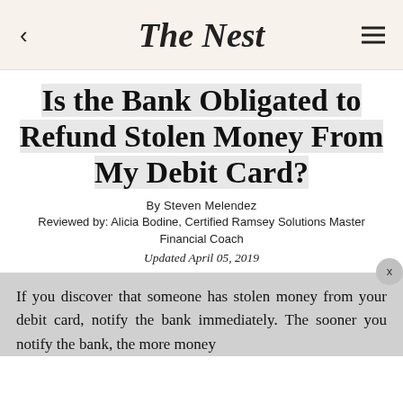The Nest
Is the Bank Obligated to Refund Stolen Money From My Debit Card?
By Steven Melendez
Reviewed by: Alicia Bodine, Certified Ramsey Solutions Master Financial Coach
Updated April 05, 2019
If you discover that someone has stolen money from your debit card, notify the bank immediately. The sooner you notify the bank, the more money